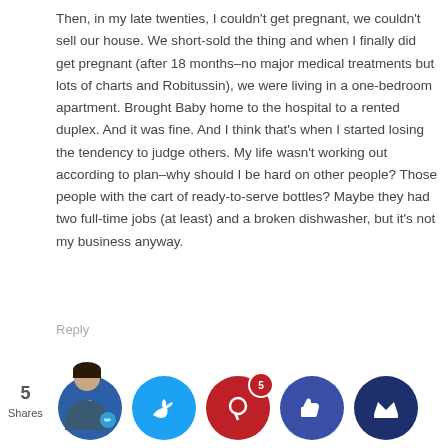Then, in my late twenties, I couldn't get pregnant, we couldn't sell our house. We short-sold the thing and when I finally did get pregnant (after 18 months–no major medical treatments but lots of charts and Robitussin), we were living in a one-bedroom apartment. Brought Baby home to the hospital to a rented duplex. And it was fine. And I think that's when I started losing the tendency to judge others. My life wasn't working out according to plan–why should I be hard on other people? Those people with the cart of ready-to-serve bottles? Maybe they had two full-time jobs (at least) and a broken dishwasher, but it's not my business anyway.
Reply
Mrs. Frugalwoods © June 20, 2015 at 8:19 am
Yes, yes, yes!!! That's pretty much my trajectory too. I was the judgment queen when I was younger, but the more I experience and age, I realize the less I know. The formula/dishwasher example is perfection–that's totally the thing I was judged about, but now I think like …maybe they adopted an infant in their ho…
5
Shares